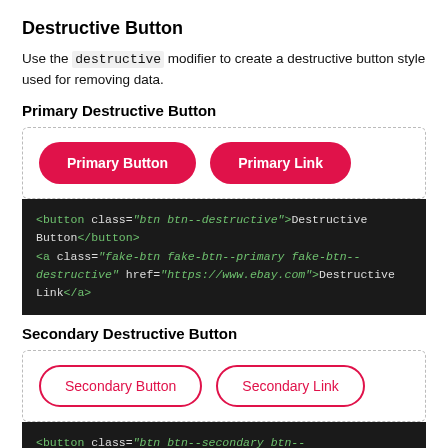Destructive Button
Use the destructive modifier to create a destructive button style used for removing data.
Primary Destructive Button
[Figure (screenshot): Preview box showing two red pill-shaped buttons: 'Primary Button' and 'Primary Link']
<button class="btn btn--destructive">Destructive Button</button>
<a class="fake-btn fake-btn--primary fake-btn--destructive" href="https://www.ebay.com">Destructive Link</a>
Secondary Destructive Button
[Figure (screenshot): Preview box showing two outlined red pill-shaped buttons: 'Secondary Button' and 'Secondary Link']
<button class="btn btn--secondary btn--